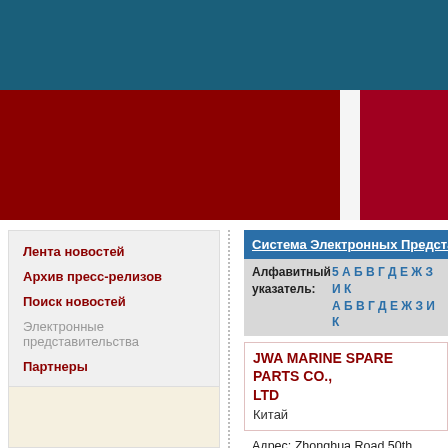[Figure (other): Teal and dark red header banner with colored blocks]
Лента новостей
Архив пресс-релизов
Поиск новостей
Электронные представительства
Партнеры
Реклама на сайте
Контакты
Система Электронных Представитель...
Алфавитный указатель: 5 А Б В Г Д Е Ж З И К ...
JWA MARINE SPARE PARTS CO., LTD
Китай
Адрес: Zhonghua Road 50th, Nanjing, Jiangsu Province, Nanjing 210005, Jiangsu, China
Телефон: 86 25 68961064
Факс: 86 25 68961064